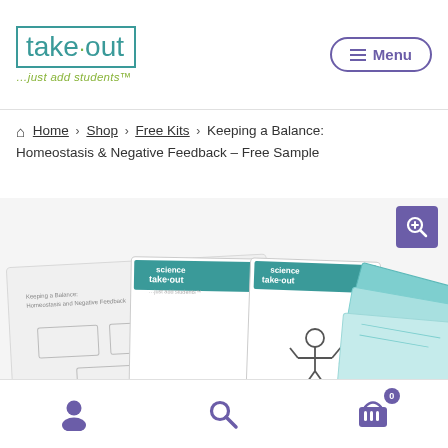[Figure (logo): Science Take-out logo with teal border, 'take·out' in teal text with olive dot, tagline '...just add students™' in olive italic]
Menu
⌂ Home › Shop › Free Kits › Keeping a Balance: Homeostasis & Negative Feedback – Free Sample
[Figure (photo): Product image showing Science Take-out kit cards for 'Keeping a Balance: Homeostasis and Negative Feedback', with a zoom/magnify button in the upper right corner]
[Figure (other): Footer navigation bar with user account icon, search icon, and shopping cart icon with badge showing 0]